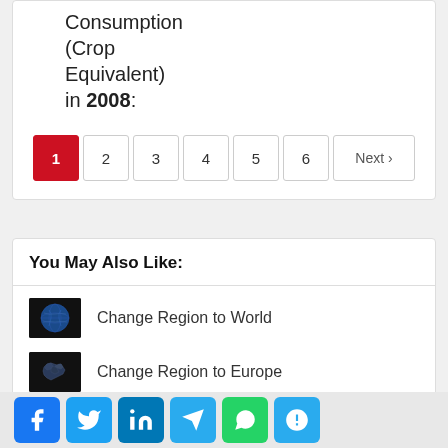Consumption (Crop Equivalent) in 2008:
1 2 3 4 5 6 Next ›
You May Also Like:
Change Region to World
Change Region to Europe
Facebook Twitter LinkedIn Telegram WhatsApp ?